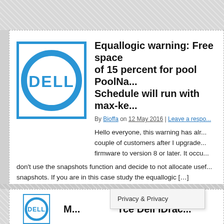[Figure (logo): Dell logo — blue circle with Dell wordmark in white]
Equallogic warning: Free space below threshold of 15 percent for pool PoolName. Schedule will run with max-ke...
By Bioffa on 12 May 2016 | Leave a respo...
Hello everyone, this warning has alr... couple of customers after I upgrade... firmware to version 8 or later. It occu... don't use the snapshots function and decide to not allocate usef... snapshots. If you are in this case study the equallogic [...]
[Figure (logo): Dell logo partial — blue circle visible at bottom]
M... ...ce Dell iDrac...
Privacy & Privacy